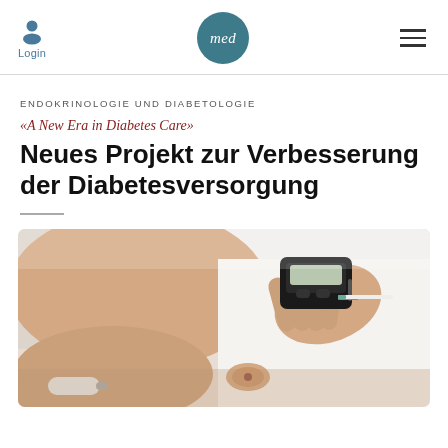Login | med | (menu)
ENDOKRINOLOGIE UND DIABETOLOGIE
«A New Era in Diabetes Care»
Neues Projekt zur Verbesserung der Diabetesversorgung
[Figure (photo): Close-up of a medical professional using a blood glucose meter to test a patient's finger. The patient's abdomen is partially visible in the background, and both are dressed in white/light clothing.]